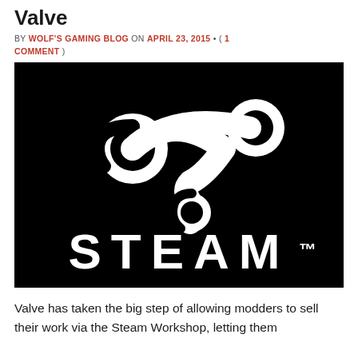Valve
BY WOLF'S GAMING BLOG ON APRIL 23, 2015 • ( 1 COMMENT )
[Figure (logo): Steam logo on black background — white Steam symbol (pipe wrench-shaped icon) above the word STEAM™ in large white spaced letters]
Valve has taken the big step of allowing modders to sell their work via the Steam Workshop, letting them